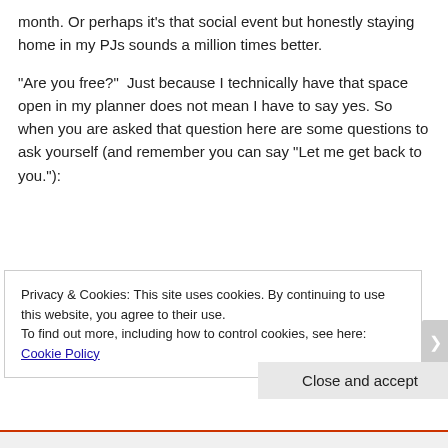month. Or perhaps it's that social event but honestly staying home in my PJs sounds a million times better.
“Are you free?”  Just because I technically have that space open in my planner does not mean I have to say yes. So when you are asked that question here are some questions to ask yourself (and remember you can say “Let me get back to you.”):
Privacy & Cookies: This site uses cookies. By continuing to use this website, you agree to their use.
To find out more, including how to control cookies, see here: Cookie Policy
Close and accept